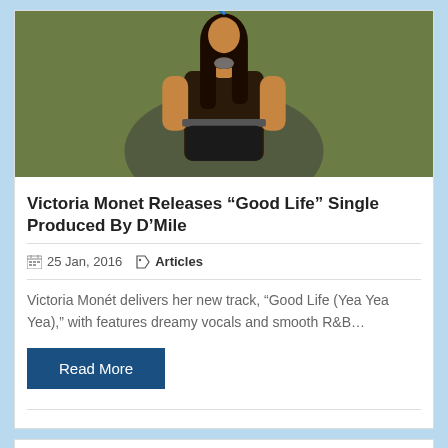[Figure (photo): Photo of Victoria Monet, a woman in a black outfit with feathers in her hair against a green/olive background]
Victoria Monet Releases “Good Life” Single Produced By D’Mile
25 Jan, 2016   Articles
Victoria Monét delivers her new track, “Good Life (Yea Yea Yea),” with features dreamy vocals and smooth R&B…
Read More